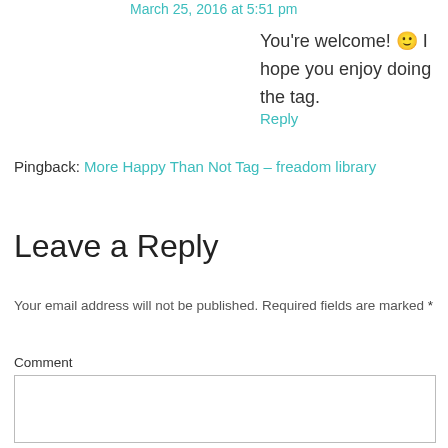March 25, 2016 at 5:51 pm
You're welcome! 🙂 I hope you enjoy doing the tag.
Reply
Pingback: More Happy Than Not Tag – freadom library
Leave a Reply
Your email address will not be published. Required fields are marked *
Comment